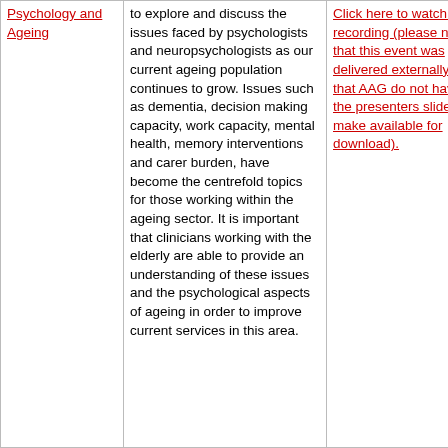| Psychology and Ageing | to explore and discuss the issues faced by psychologists and neuropsychologists as our current ageing population continues to grow. Issues such as dementia, decision making capacity, work capacity, mental health, memory interventions and carer burden, have become the centrefold topics for those working within the ageing sector. It is important that clinicians working with the elderly are able to provide an understanding of these issues and the psychological aspects of ageing in order to improve current services in this area. | Click here to watch a recording (please note that this event was delivered externally and that AAG do not have the presenters slides to make available for download). |